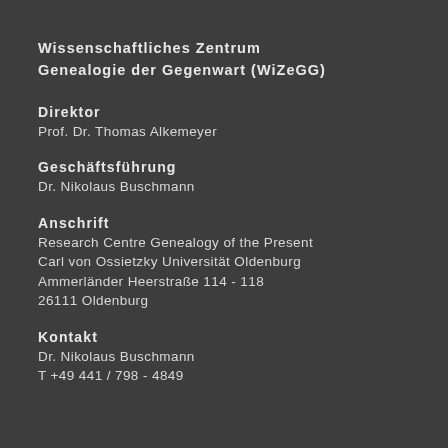Wissenschaftliches Zentrum Genealogie der Gegenwart (WiZeGG)
Direktor
Prof. Dr. Thomas Alkemeyer
Geschäftsführung
Dr. Nikolaus Buschmann
Anschrift
Research Centre Genealogy of the Present
Carl von Ossietzky Universität Oldenburg
Ammerländer Heerstraße 114 - 118
26111 Oldenburg
Kontakt
Dr. Nikolaus Buschmann
T +49 441 / 798 - 4849